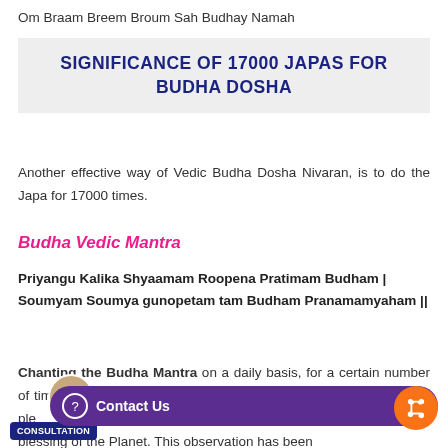Om Braam Breem Broum Sah Budhay Namah
SIGNIFICANCE OF 17000 JAPAS FOR BUDHA DOSHA
Another effective way of Vedic Budha Dosha Nivaran, is to do the Japa for 17000 times.
Budha Vedic Mantra
Priyangu Kalika Shyaamam Roopena Pratimam Budham | Soumyam Soumya gunopetam tam Budham Pranamamyaham ||
Chanting the Budha Mantra on a daily basis, for a certain number of times, continuously for some days, till the 17000 Japas is said to please Planet Budha and therefore helps in the blessing of the Planet. This observation has been